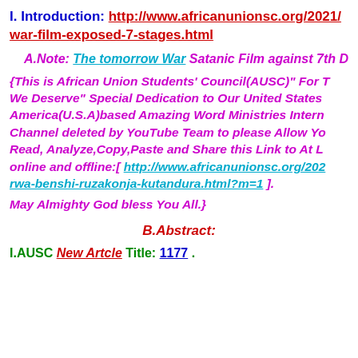I. Introduction: http://www.africanunionsc.org/2021/ war-film-exposed-7-stages.html
A.Note: The tomorrow War Satanic Film against 7th …
{This is African Union Students' Council(AUSC)" For … We Deserve" Special Dedication to Our United States … America(U.S.A)based Amazing Word Ministries Intern… Channel deleted by YouTube Team to please Allow Yo… Read, Analyze,Copy,Paste and Share this Link to At L… online and offline:[ http://www.africanunionsc.org/202… rwa-benshi-ruzakonja-kutandura.html?m=1 ].
May Almighty God bless You All.}
B.Abstract:
I.AUSC New Artcle Title: 1177.